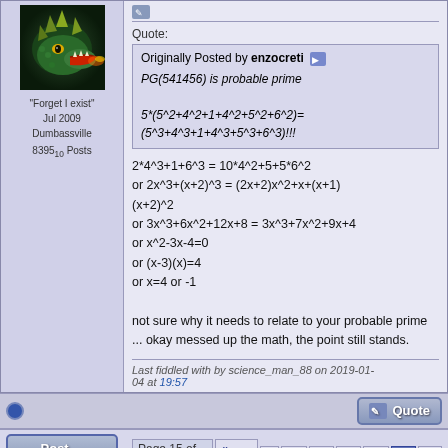[Figure (photo): Dragon avatar image with green/yellow dragon head on dark background]
"Forget I exist"
Jul 2009
Dumbassville
839510 Posts
Quote:
Originally Posted by enzocreti
PG(541456) is probable prime
5*(5^2+4^2+1+4^2+5^2+6^2)=
(5^3+4^3+1+4^3+5^3+6^3)!!!
2*4^3+1+6^3 = 10*4^2+5+5*6^2
or 2x^3+(x+2)^3 = (2x+2)x^2+x+(x+1)(x+2)^2
or 3x^3+6x^2+12x+8 = 3x^3+7x^2+9x+4
or x^2-3x-4=0
or (x-3)(x)=4
or x=4 or -1

not sure why it needs to relate to your probable prime ... okay messed up the math, the point still stands.
Last fiddled with by science_man_88 on 2019-01-04 at 19:57
Post Reply
Page 15 of 15  « First  <  11  12  13  14  15
« Previous Thread | Next Thread »